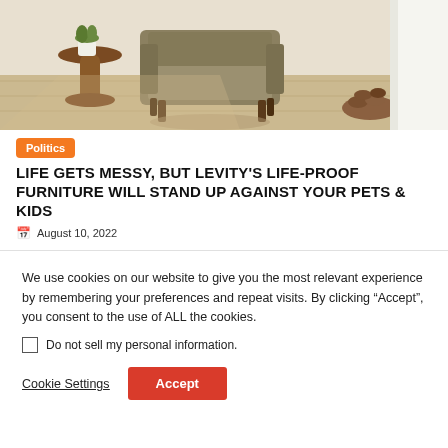[Figure (photo): Interior room photo showing a taupe/olive upholstered armchair with wooden legs on a light wood floor, a round wooden side table with a plant, and firewood stacked near a fireplace with white curtains in background.]
Politics
LIFE GETS MESSY, BUT LEVITY'S LIFE-PROOF FURNITURE WILL STAND UP AGAINST YOUR PETS & KIDS
August 10, 2022
We use cookies on our website to give you the most relevant experience by remembering your preferences and repeat visits. By clicking “Accept”, you consent to the use of ALL the cookies.
Do not sell my personal information.
Cookie Settings
Accept